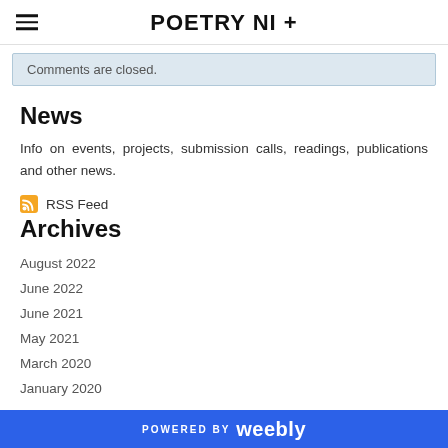POETRY NI +
Comments are closed.
News
Info on events, projects, submission calls, readings, publications and other news.
RSS Feed
Archives
August 2022
June 2022
June 2021
May 2021
March 2020
January 2020
POWERED BY weebly